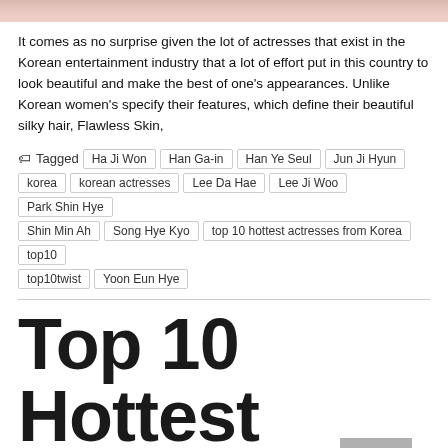[Figure (photo): Partial image of person at top of page, cropped]
It comes as no surprise given the lot of actresses that exist in the Korean entertainment industry that a lot of effort put in this country to look beautiful and make the best of one's appearances. Unlike Korean women's specify their features, which define their beautiful silky hair, Flawless Skin,
Tagged  Ha Ji Won  Han Ga-in  Han Ye Seul  Jun Ji Hyun  korea  korean actresses  Lee Da Hae  Lee Ji Woo  Park Shin Hye  Shin Min Ah  Song Hye Kyo  top 10 hottest actresses from Korea  top10  top10twist  Yoon Eun Hye
Top 10 Hottest Female